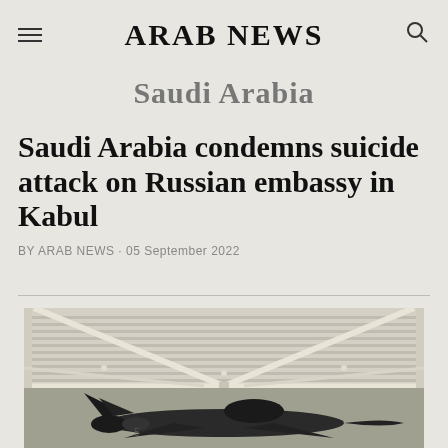ARAB NEWS
Saudi Arabia
Saudi Arabia condemns suicide attack on Russian embassy in Kabul
BY ARAB NEWS · 05 September 2022
[Figure (photo): Fighter jet aircraft under a large hangar roof structure with metal beams and corrugated ceiling]